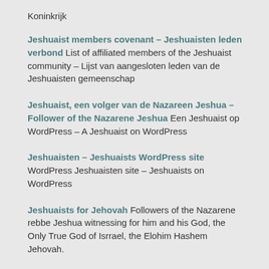Koninkrijk
Jeshuaist members covenant – Jeshuaisten leden verbond List of affiliated members of the Jeshuaist community – Lijst van aangesloten leden van de Jeshuaisten gemeenschap
Jeshuaist, een volger van de Nazareen Jeshua – Follower of the Nazarene Jeshua Een Jeshuaist op WordPress – A Jeshuaist on WordPress
Jeshuaisten – Jeshuaists WordPress site WordPress Jeshuaisten site – Jeshuaists on WordPress
Jeshuaists for Jehovah Followers of the Nazarene rebbe Jeshua witnessing for him and his God, the Only True God of Isrrael, the Elohim Hashem Jehovah.
Jeshuaists on Jeshuaism Followers of Jeshua explaining what Jeshuaism is and giving their view on what happens in the world
WORTH VISITING - EEN BEZOEKJE WAARD